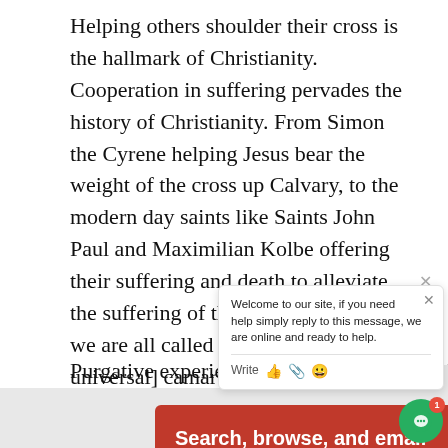Helping others shoulder their cross is the hallmark of Christianity. Cooperation in suffering pervades the history of Christianity. From Simon the Cyrene helping Jesus bear the weight of the cross up Calvary, to the modern day saints like Saints John Paul and Maximilian Kolbe offering their suffering and death to alleviate the suffering of their fellow mankind, we are all called to a Catholic [a universal] camaraderie.
Purgative experiences on my earthly jour… allows me to get beyond my limited purvie…
Advertisements
[Figure (screenshot): DuckDuckGo advertisement banner with orange background showing 'Search, browse, and email with more privacy. All in One Free App' text and DuckDuckGo logo on a dark phone graphic.]
[Figure (screenshot): Chat popup widget saying 'Welcome to our site, if you need help simply reply to this message, we are online and ready to help.' with a Write input bar.]